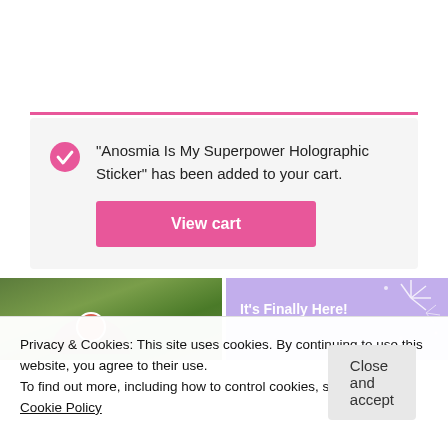“Anosmia Is My Superpower Holographic Sticker” has been added to your cart.
[Figure (screenshot): Pink View cart button]
[Figure (photo): Photo of clothing on grass with decorative pin]
[Figure (illustration): Purple banner with text 'It’s Finally Here!' and sparkle effects]
Privacy & Cookies: This site uses cookies. By continuing to use this website, you agree to their use.
To find out more, including how to control cookies, see here:
Cookie Policy
Close and accept